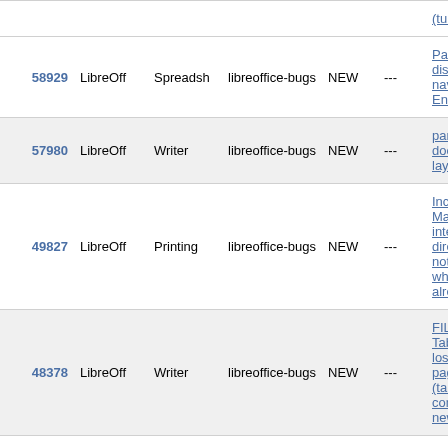| ID | Product | Component | Assignee | Status | Resolution | Summary |
| --- | --- | --- | --- | --- | --- | --- |
| 58929 | LibreOff | Spreadsh | libreoffice-bugs | NEW | --- | PasdisanavEnte |
| 57980 | LibreOff | Writer | libreoffice-bugs | NEW | --- | part doc layco |
| 49827 | LibreOff | Printing | libreoffice-bugs | NEW | --- | Inco Mad inte dire not  whe alre |
| 48378 | LibreOff | Writer | libreoffice-bugs | NEW | --- | FILE Tab lose pag (tab com new |
| 60957 | LibreOff | Writer | libreoffice-bugs | NEW | --- | FILE part sho fielc repe |